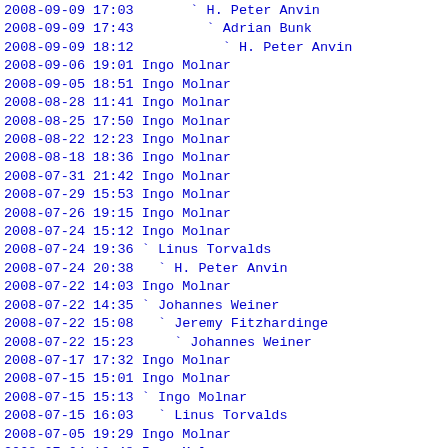2008-09-09 17:03       ` H. Peter Anvin
2008-09-09 17:43         ` Adrian Bunk
2008-09-09 18:12           ` H. Peter Anvin
2008-09-06 19:01 Ingo Molnar
2008-09-05 18:51 Ingo Molnar
2008-08-28 11:41 Ingo Molnar
2008-08-25 17:50 Ingo Molnar
2008-08-22 12:23 Ingo Molnar
2008-08-18 18:36 Ingo Molnar
2008-07-31 21:42 Ingo Molnar
2008-07-29 15:53 Ingo Molnar
2008-07-26 19:15 Ingo Molnar
2008-07-24 15:12 Ingo Molnar
2008-07-24 19:36 ` Linus Torvalds
2008-07-24 20:38   ` H. Peter Anvin
2008-07-22 14:03 Ingo Molnar
2008-07-22 14:35 ` Johannes Weiner
2008-07-22 15:08   ` Jeremy Fitzhardinge
2008-07-22 15:23     ` Johannes Weiner
2008-07-17 17:32 Ingo Molnar
2008-07-15 15:01 Ingo Molnar
2008-07-15 15:13 ` Ingo Molnar
2008-07-15 16:03   ` Linus Torvalds
2008-07-05 19:29 Ingo Molnar
2008-07-04 16:48 Ingo Molnar
2008-06-30 15:30 Ingo Molnar
2008-06-19 15:13 Ingo Molnar
2008-06-19 21:29 ` Simon Holm Thøgersen
2008-06-19 23:34   ` Suresh Siddha
2008-06-12 19:51 Ingo Molnar